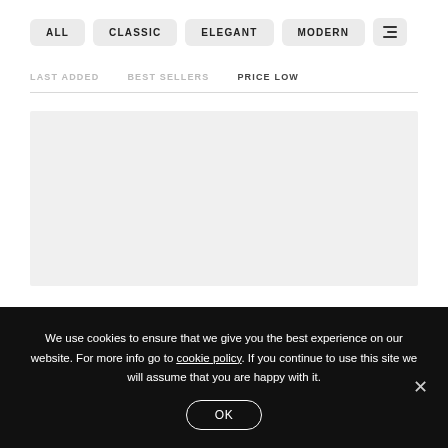ALL
CLASSIC
ELEGANT
MODERN
LAST ADDED | BEST SELLERS | PRICE LOW
[Figure (other): Gray placeholder product image area]
We use cookies to ensure that we give you the best experience on our website. For more info go to cookie policy. If you continue to use this site we will assume that you are happy with it.
OK